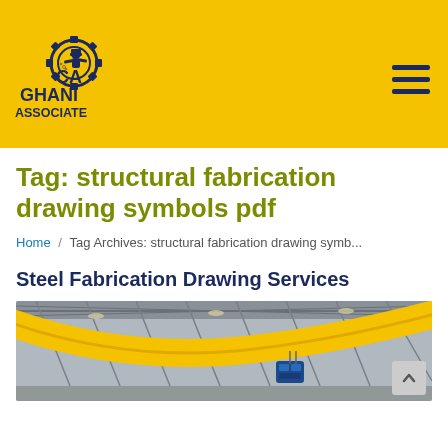[Figure (logo): Ghani Associate logo — gear/gear-person icon with text GHANI ASSOCIATE in dark blue, on yellow background]
Tag: structural fabrication drawing symbols pdf
Home / Tag Archives: structural fabrication drawing symb...
Steel Fabrication Drawing Services
[Figure (photo): Industrial steel fabrication facility interior — large yellow overhead crane beam spanning the ceiling of a warehouse, with blue hoist mechanism visible, metal roof trusses and columns in background]